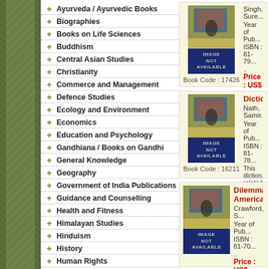+ Ayurveda / Ayurvedic Books
+ Biographies
+ Books on Life Sciences
+ Buddhism
+ Central Asian Studies
+ Christianity
+ Commerce and Management
+ Defence Studies
+ Ecology and Environment
+ Economics
+ Education and Psychology
+ Gandhiana / Books on Gandhi
+ General Knowledge
+ Geography
+ Government of India Publications
+ Guidance and Counselling
+ Health and Fitness
+ Himalayan Studies
+ Hinduism
+ History
+ Human Rights
+ Information Technology
[Figure (illustration): Book cover image placeholder with 'IMAGE NOT AVAILABLE' overlay. Book Code: 17426]
Singh, Sure... Year of Pub... ISBN: 81-79.. .. Price: US$
[Figure (illustration): Book cover image placeholder with 'IMAGE NOT AVAILABLE' overlay. Book Code: 16211]
Dictionary
Nath, Samir... Year of Pub... ISBN: 81-78... This dictionary related to the... arranged in... Price: US$
[Figure (illustration): Book cover image placeholder with 'IMAGE NOT AVAILABLE' overlay.]
Dilemmas of American G...
Crawford, S... Year of Pub... ISBN: 81-70... .. Price: US$